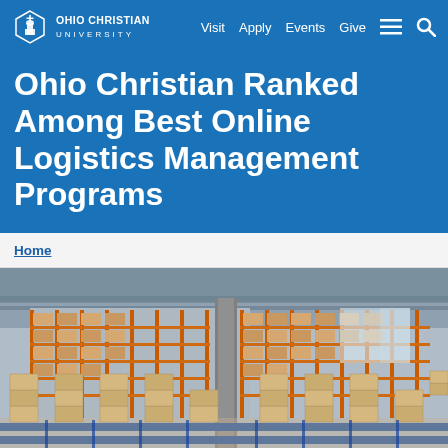Ohio Christian University — Visit Apply Events Give
Ohio Christian Ranked Among Best Online Logistics Management Programs
Home
[Figure (photo): Interior of a large distribution warehouse with tall orange and blue metal shelving racks filled with cardboard boxes, blue conveyor belt system in the foreground transporting stacked cartons, concrete pillars, industrial ceiling.]